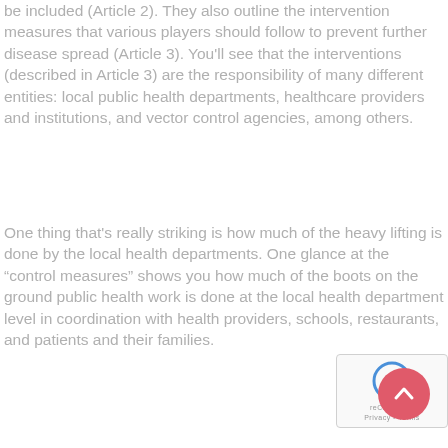be included (Article 2). They also outline the intervention measures that various players should follow to prevent further disease spread (Article 3). You'll see that the interventions (described in Article 3) are the responsibility of many different entities: local public health departments, healthcare providers and institutions, and vector control agencies, among others.
One thing that’s really striking is how much of the heavy lifting is done by the local health departments. One glance at the “control measures” shows you how much of the boots on the ground public health work is done at the local health department level in coordination with health providers, schools, restaurants, and patients and their families.